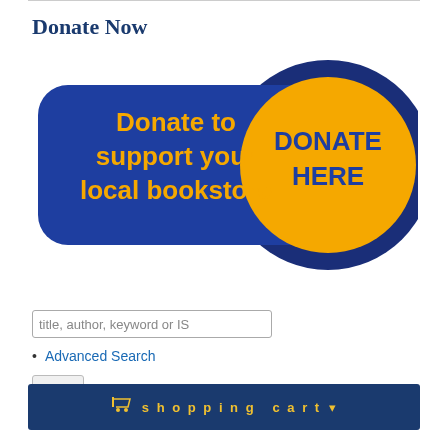Donate Now
[Figure (illustration): Blue rounded rectangle donate button with yellow text reading 'Donate to support your local bookstore' and a large yellow circle on the right with blue text reading 'DONATE HERE']
title, author, keyword or IS
Advanced Search
[Figure (other): Search button with magnifying glass icon]
shopping cart